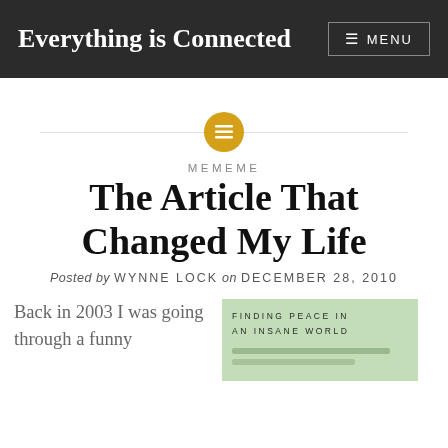Everything is Connected  MENU
[Figure (other): Decorative divider with golden circle icon containing horizontal lines, flanked by gray horizontal rules]
MEMEME
The Article That Changed My Life
Posted by WYNNE LOCK on DECEMBER 28, 2010
Back in 2003 I was going through a funny
[Figure (illustration): Book cover with green background showing text: FINDING PEACE IN AN INSANE WORLD]